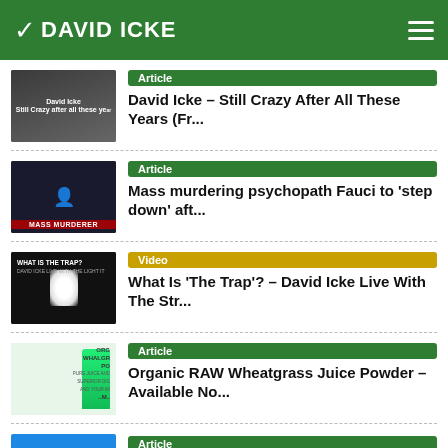DAVID ICKE
Article — David Icke - Still Crazy After All These Years (Fr...
Article — Mass murdering psychopath Fauci to 'step down' aft...
Video — What Is 'The Trap'? - David Icke Live With The Str...
Article — Organic RAW Wheatgrass Juice Powder - Available No...
Article — (partial, bottom of page)